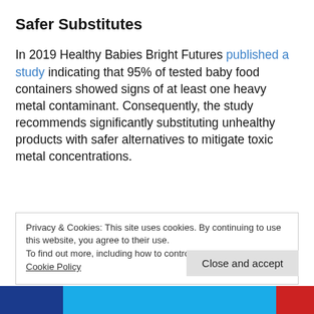Safer Substitutes
In 2019 Healthy Babies Bright Futures published a study indicating that 95% of tested baby food containers showed signs of at least one heavy metal contaminant. Consequently, the study recommends significantly substituting unhealthy products with safer alternatives to mitigate toxic metal concentrations.
Privacy & Cookies: This site uses cookies. By continuing to use this website, you agree to their use.
To find out more, including how to control cookies, see here:
Cookie Policy
Close and accept